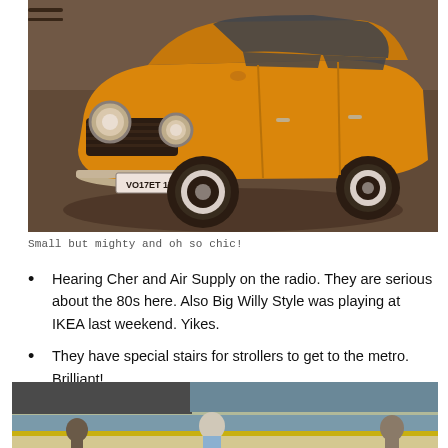[Figure (photo): A yellow/orange vintage Soviet Lada car (Zhiguli) with license plate VO17ET174, lowered stance with black wheels and white wall tires, photographed from the front-left angle on a street.]
Small but mighty and oh so chic!
Hearing Cher and Air Supply on the radio. They are serious about the 80s here. Also Big Willy Style was playing at IKEA last weekend. Yikes.
They have special stairs for strollers to get to the metro. Brilliant!
[Figure (photo): People standing looking at a large body of water or lake, seen from behind, with a grey sky and distant shoreline.]